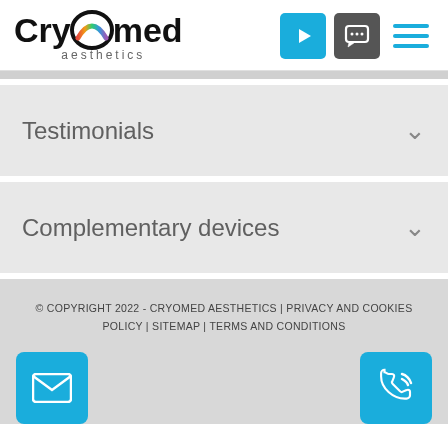[Figure (logo): CryOmed aesthetics logo with colorful arc swoosh through the O, followed by navigation icons: blue play button, gray chat bubble button, and blue hamburger menu icon]
Testimonials
Complementary devices
© COPYRIGHT 2022 - CRYOMED AESTHETICS | PRIVACY AND COOKIES POLICY | SITEMAP | TERMS AND CONDITIONS